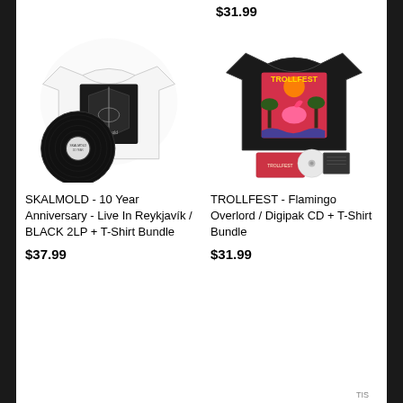$31.99
[Figure (photo): SKALMOLD 10 Year Anniversary album bundle: white t-shirt with Viking ship graphic and black vinyl 2LP record]
[Figure (photo): TROLLFEST Flamingo Overlord bundle: black t-shirt with flamingo graphic, digipak CD, disc and booklet]
SKALMOLD - 10 Year Anniversary - Live In Reykjavík / BLACK 2LP + T-Shirt Bundle
$37.99
TROLLFEST - Flamingo Overlord / Digipak CD + T-Shirt Bundle
$31.99